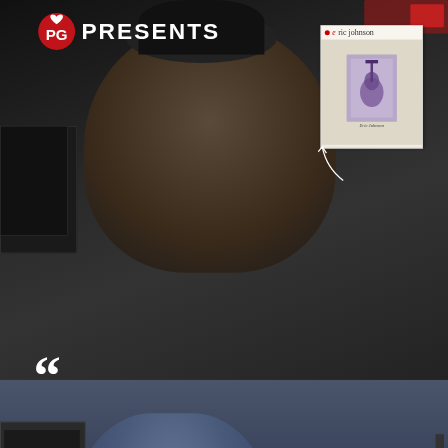[Figure (screenshot): PG Presents video thumbnail showing a man in a black cap in a recording studio, with an Eric Johnson album thumbnail in the upper right corner]
[Figure (screenshot): Video player showing a guitarist playing a Stratocaster guitar with a play button overlay]
Helmer's How-Tos: 8 Steps to Float Your Strat Trem
Phil G...
[Figure (infographic): Mesa/Boogie advertisement: A RECTO LIKE NO OTHER - THE BADLANDER SERIES with LEARN MORE button and amp image]